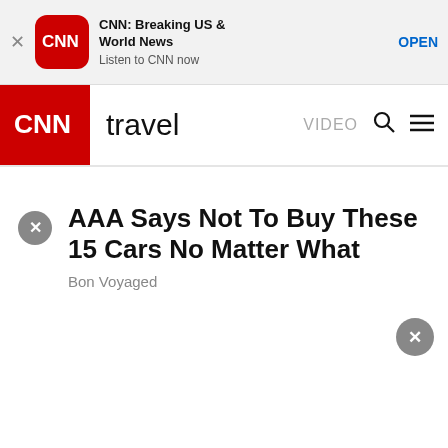[Figure (screenshot): CNN app install banner with CNN logo, title 'CNN: Breaking US & World News', subtitle 'Listen to CNN now', and OPEN button]
CNN travel  VIDEO
AAA Says Not To Buy These 15 Cars No Matter What
Bon Voyaged